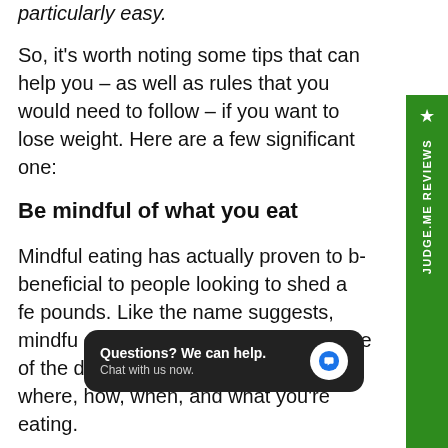particularly easy.
So, it's worth noting some tips that can help you – as well as rules that you would need to follow – if you want to lose weight. Here are a few significant one:
Be mindful of what you eat
Mindful eating has actually proven to be beneficial to people looking to shed a few pounds. Like the name suggests, mindful eating is essentially being aware of the details of your meals – including where, how, when, and what you're eating.
It is critical to make healthy choices when it comes to your eating. It is a direct
[Figure (other): Green sidebar with star icon and JUDGE.ME REVIEWS text rotated vertically]
[Figure (other): Dark chat popup widget with text 'Questions? We can help. Chat with us now.' and blue chat bubble icon]